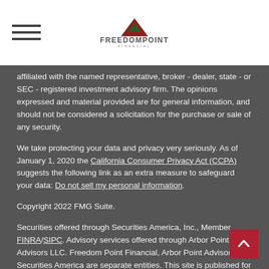FreedomPoint Financial
affiliated with the named representative, broker - dealer, state - or SEC - registered investment advisory firm. The opinions expressed and material provided are for general information, and should not be considered a solicitation for the purchase or sale of any security.
We take protecting your data and privacy very seriously. As of January 1, 2020 the California Consumer Privacy Act (CCPA) suggests the following link as an extra measure to safeguard your data: Do not sell my personal information.
Copyright 2022 FMG Suite.
Securities offered through Securities America, Inc., Member FINRA/SIPC. Advisory services offered through Arbor Point Advisors LLC. Freedom Point Financial, Arbor Point Advisors and Securities America are separate entities. This site is published for residents of the United States and is for informational purposes only and does not constitute an offer to sell or a solicitation of an offer to buy any security or product that may be referenced herein. Securities America and its representatives do not provide tax advice; therefore it is important to coordinate with your tax advisor regarding your specific situation. Persons mentioned on this website may only offer services and transact business and/or respond to inquiries in states or jurisdictions in which they have been properly registered or are exempt from registration. Not all products and services referenced on this site are available in every state, jurisdiction or from every person listed.